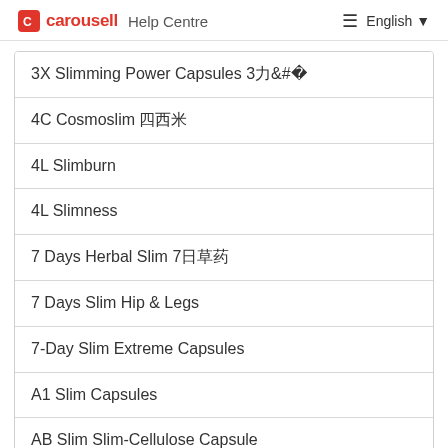carousell Help Centre  ☰ English ▾
3X Slimming Power Capsules 3力
4C Cosmoslim 四西米
4L Slimburn
4L Slimness
7 Days Herbal Slim 7日草药
7 Days Slim Hip & Legs
7-Day Slim Extreme Capsules
A1 Slim Capsules
AB Slim Slim-Cellulose Capsule
ABX Weight Loss Dietary Supplement